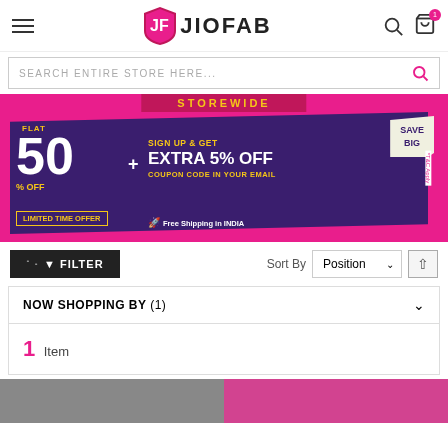[Figure (logo): JIOFAB logo with shield icon showing J and F letters in pink/maroon]
[Figure (infographic): Promotional banner: STOREWIDE FLAT 50% OFF + SIGN UP & GET EXTRA 5% OFF COUPON CODE IN YOUR EMAIL. LIMITED TIME OFFER. Free Shipping in INDIA. SAVE BIG. *T&C Apply.]
FILTER
Sort By Position
NOW SHOPPING BY (1)
1 Item